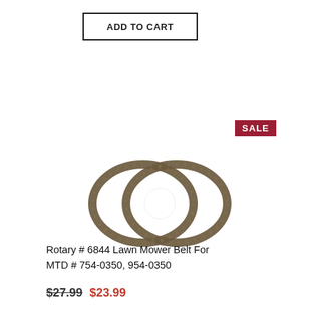ADD TO CART
[Figure (photo): Two lawn mower drive belts (Rotary #6844) coiled together, shown on white background. The belts are dark brown/grey rubber V-belts.]
SALE
Rotary # 6844 Lawn Mower Belt For MTD # 754-0350, 954-0350
$27.99 $23.99